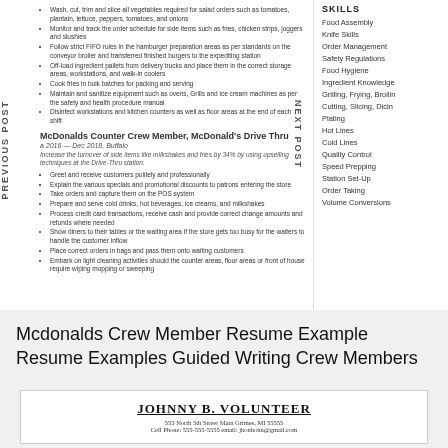Wash, cut, trim and slice all vegetables required for salad orders such as tomatoes, plantain, lettuce, peppers, tomatoes, and onions
Monitor and track the order schedule for side items such as fries, chicken strips, joggers and slushies
Follow strict FIFO rules in the hamburger preparation areas as per standards on the conveyor broiler and transferred finished burgers to the expediting station
Off-load ingredient pallets from delivery trucks and place them in the correct storage areas, workstations, and walk-in coolers
Cook fries in bulk batches for packing and serving
Maintain and sanitize equipment such as ovens, Grills and ice cream machines as per the safety and health procedure manual
Disinfect workstations and kitchen counters as well as floor areas at the end of each shift
McDonalds Counter Crew Member, McDonald's Drive Thru
a 2016 — Dec 2018, Buffalo
Increase the turnover of side items like milkshakes and fries by 34% by using upselling techniques at the Drive-Thru station.
Greet and receive customers politely and professionally
Explain the various specials and promotional discounts to patrons entering the store
Take orders and capture them on the POS system
Prepare and serve cold drinks, hot beverages, ice creams, and milkshakes
Process credit card transactions, receive cash and provide correct change amounts and refunds where needed
Show diners to their tables or the waiting area if the store gets too busy for the waiters to handle the customer inflow
Place correct orders in bags and pass them onto waiting customers
Embark on light cleaning activities should the counter areas, floor areas or front of house require wiping mopping or sweeping
SKILLS
Food Assembly
Knife Skills
Order Management
Safety Regulations
Food Hygiene
Ingredient Knowledge
Grilling, Frying, Broilin
Cutting, Slicing, Dicing
Plating
Hot Lines
Cold Lines
Quality Control
Speed Prepping
Station Set-Up
Order Taking
Volume Conversions
Mcdonalds Crew Member Resume Example Resume Examples Guided Writing Crew Members
[Figure (other): Bottom preview of a resume for JOHNNY B. VOLUNTEER with address 555 North 5th Street Main Grimes, MI 55555]